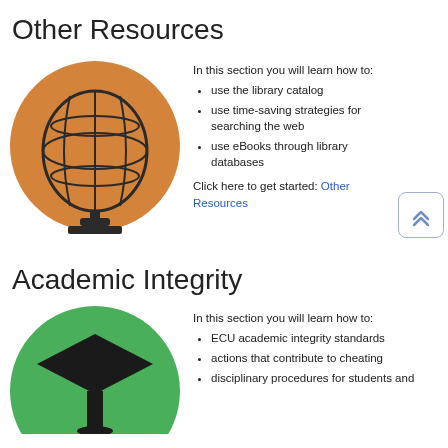Other Resources
[Figure (illustration): Orange circle with a globe/world icon illustration]
In this section you will learn how to:
use the library catalog
use time-saving strategies for searching the web
use eBooks through library databases
Click here to get started: Other Resources
Academic Integrity
[Figure (illustration): Green circle with a graduation cap / academic integrity icon]
In this section you will learn how to:
ECU academic integrity standards
actions that contribute to cheating
disciplinary procedures for students and